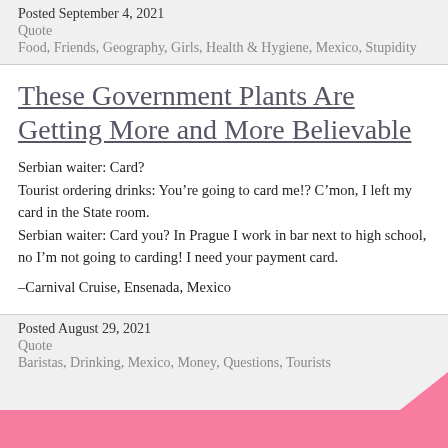Posted September 4, 2021
Quote
Food, Friends, Geography, Girls, Health & Hygiene, Mexico, Stupidity
These Government Plants Are Getting More and More Believable
Serbian waiter: Card?
Tourist ordering drinks: You're going to card me!? C'mon, I left my card in the State room.
Serbian waiter: Card you? In Prague I work in bar next to high school, no I'm not going to carding! I need your payment card.
–Carnival Cruise, Ensenada, Mexico
Posted August 29, 2021
Quote
Baristas, Drinking, Mexico, Money, Questions, Tourists